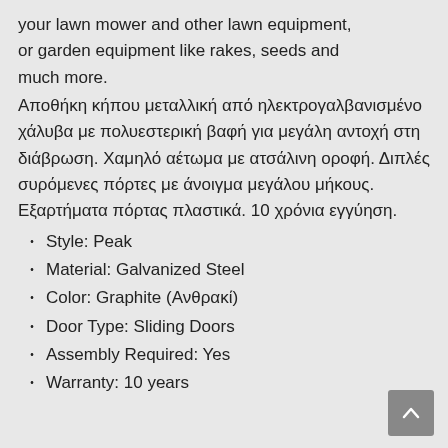your lawn mower and other lawn equipment, or garden equipment like rakes, seeds and much more.
Αποθήκη κήπου μεταλλική από ηλεκτρογαλβανισμένο χάλυβα με πολυεστερική βαφή για μεγάλη αντοχή στη διάβρωση. Χαμηλό αέτωμα με ατσάλινη οροφή. Διπλές συρόμενες πόρτες με άνοιγμα μεγάλου μήκους.  Εξαρτήματα πόρτας πλαστικά. 10 χρόνια εγγύηση.
Style: Peak
Material: Galvanized Steel
Color: Graphite (Ανθρακί)
Door Type: Sliding Doors
Assembly Required: Yes
Warranty: 10 years